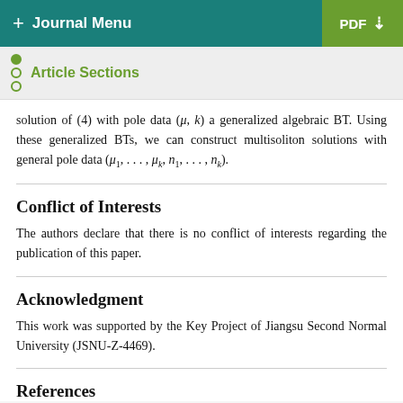+ Journal Menu  PDF ↓
Article Sections
solution of (4) with pole data (μ, k) a generalized algebraic BT. Using these generalized BTs, we can construct multisoliton solutions with general pole data (μ₁, …, μₖ, n₁, …, nₖ).
Conflict of Interests
The authors declare that there is no conflict of interests regarding the publication of this paper.
Acknowledgment
This work was supported by the Key Project of Jiangsu Second Normal University (JSNU-Z-4469).
References